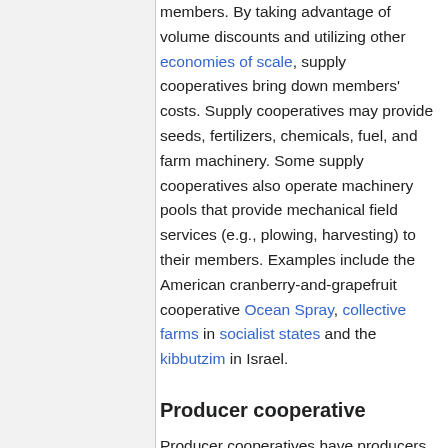members. By taking advantage of volume discounts and utilizing other economies of scale, supply cooperatives bring down members' costs. Supply cooperatives may provide seeds, fertilizers, chemicals, fuel, and farm machinery. Some supply cooperatives also operate machinery pools that provide mechanical field services (e.g., plowing, harvesting) to their members. Examples include the American cranberry-and-grapefruit cooperative Ocean Spray, collective farms in socialist states and the kibbutzim in Israel.
Producer cooperative
Producer cooperatives have producers as their members, and provide services involved in moving a product from the point of production to the point of